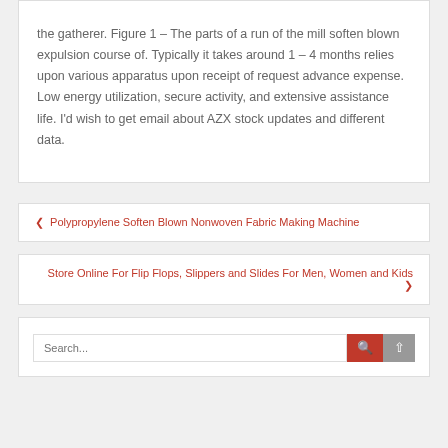the gatherer. Figure 1 – The parts of a run of the mill soften blown expulsion course of. Typically it takes around 1 – 4 months relies upon various apparatus upon receipt of request advance expense. Low energy utilization, secure activity, and extensive assistance life. I'd wish to get email about AZX stock updates and different data.
« Polypropylene Soften Blown Nonwoven Fabric Making Machine
Store Online For Flip Flops, Slippers and Slides For Men, Women and Kids »